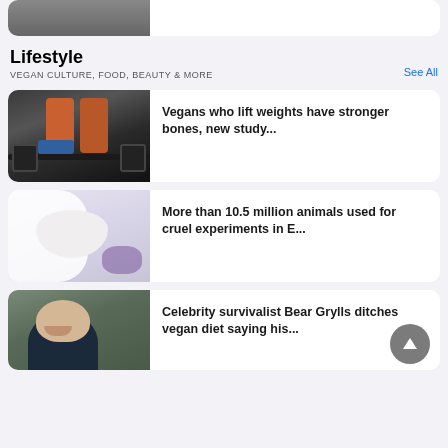[Figure (photo): Partial top card showing a person (cropped), part of a previous article card]
Lifestyle
VEGAN CULTURE, FOOD, BEAUTY & MORE
See All
[Figure (photo): Person lifting barbell weights in gym on dark floor]
Vegans who lift weights have stronger bones, new study...
[Figure (photo): White lab rat being held by person in white lab coat with purple gloves]
More than 10.5 million animals used for cruel experiments in E...
[Figure (photo): Celebrity survivalist Bear Grylls smiling outdoors in dark jacket]
Celebrity survivalist Bear Grylls ditches vegan diet saying his...